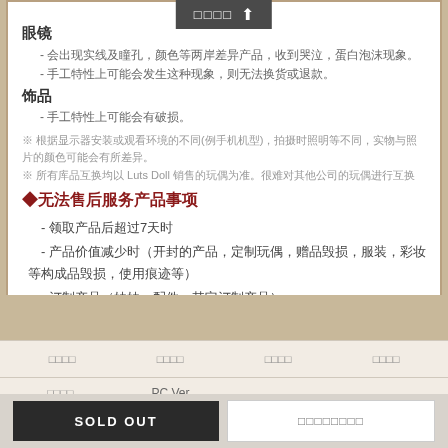眼镜
- 会出现实线及瞳孔，颜色等两岸差异产品，收到哭泣，蛋白泡沫现象。
- 手工特性上可能会发生这种现象，则无法换货或退款。
饰品
- 手工特性上可能会有破损。
※ 根据显示器安装或观看环境的不同(例手机机型)，拍摄时照明等不同，实物与照片的颜色可能会有所差异。
※ 所有库品互换均以 Luts Doll 销售的玩偶为准。很难对其他公司的玩偶进行互换
◆无法售后服务产品事项
- 领取产品后超过7天时
- 产品价值减少时（开封的产品，定制玩偶，赠品毁损，服装，彩妆等构成品毁损，使用痕迹等）
- 订制产品（娃娃，配件，其它订制产品）
- 在产品详细页面上公告无法换货/退款的产品时
追加咨询事项请在咨询留言板留言，确认后会立刻答复的。
□□□□  □□□□  □□□□  □□□□  □□□□  PC Ver.